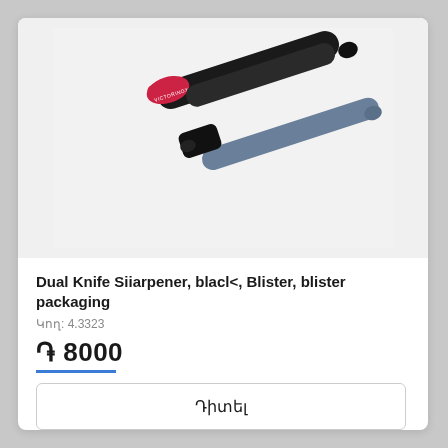[Figure (photo): Two Victorinox dual knife sharpeners — one with a black body and red cap, one with a black body and blue/grey rod — photographed on a white background.]
Dual Knife Siiarpener, black, Blister, blister packaging
Կող: 4.3323
֏ 8000
Դիտել